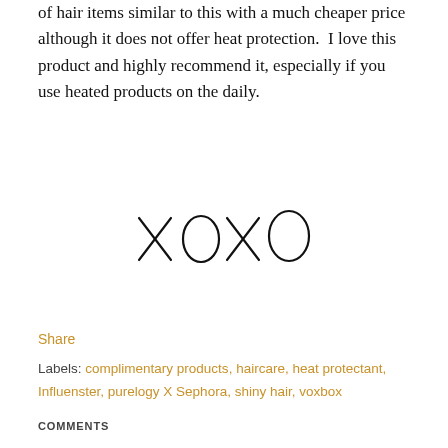of hair items similar to this with a much cheaper price although it does not offer heat protection. I love this product and highly recommend it, especially if you use heated products on the daily.
[Figure (illustration): Handwritten 'xoxo' signature in cursive script]
Share
Labels: complimentary products, haircare, heat protectant, Influenster, purelogy X Sephora, shiny hair, voxbox
COMMENTS